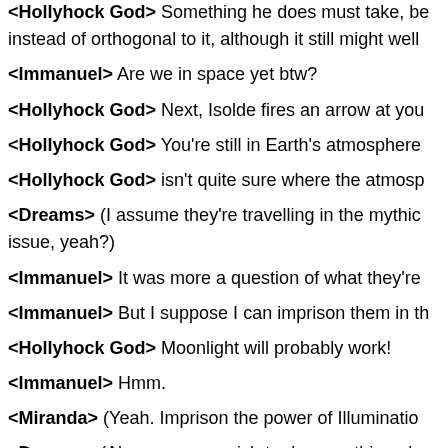<Hollyhock God> Something he does must take, be instead of orthogonal to it, although it still might well
<Immanuel> Are we in space yet btw?
<Hollyhock God> Next, Isolde fires an arrow at you
<Hollyhock God> You're still in Earth's atmosphere
<Hollyhock God> isn't quite sure where the atmosp
<Dreams> (I assume they're travelling in the mythic issue, yeah?)
<Immanuel> It was more a question of what they're
<Immanuel> But I suppose I can imprison them in th
<Hollyhock God> Moonlight will probably work!
<Immanuel> Hmm.
<Miranda> (Yeah. Imprison the power of Illuminatio
<Dreams> (Also, you may wish to do something abo